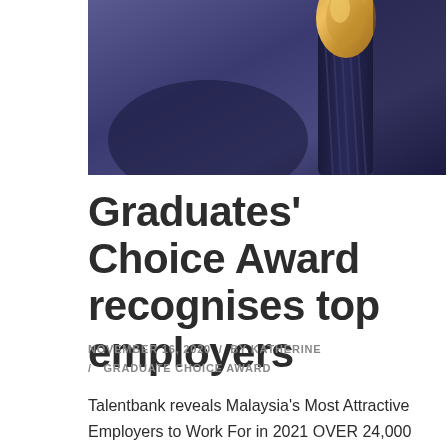[Figure (photo): Close-up photo of a golden award trophy or microphone against a dark purple/blue background]
Graduates' Choice Award recognises top employers
NOVEMBER 16, 2020 / BY KATHERINE / GRADUATE CHOICE AWARD
Talentbank reveals Malaysia's Most Attractive Employers to Work For in 2021 OVER 24,000 undergraduates from public and private universities